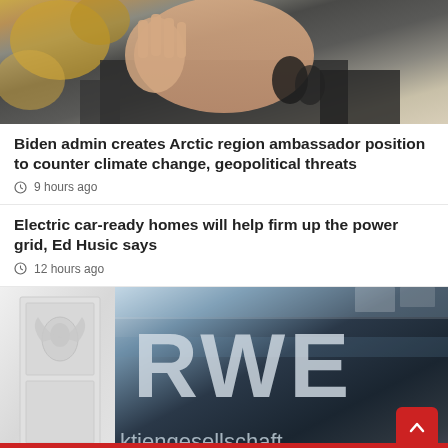[Figure (photo): Close-up photo of a man raising his hand, with blurred golden shapes in the background]
Biden admin creates Arctic region ambassador position to counter climate change, geopolitical threats
9 hours ago
Electric car-ready homes will help firm up the power grid, Ed Husic says
12 hours ago
[Figure (photo): Composite photo: left side shows a white door with relief sculpture; right side shows RWE Aktiengesellschaft building signage in glass]